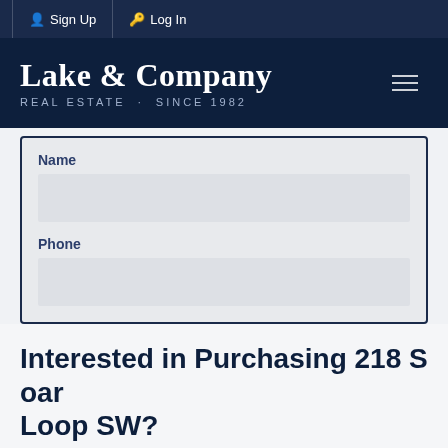Sign Up  Log In
Lake & Company
REAL ESTATE · SINCE 1982
Name
Phone
Interested in Purchasing 218 S oar Loop SW?